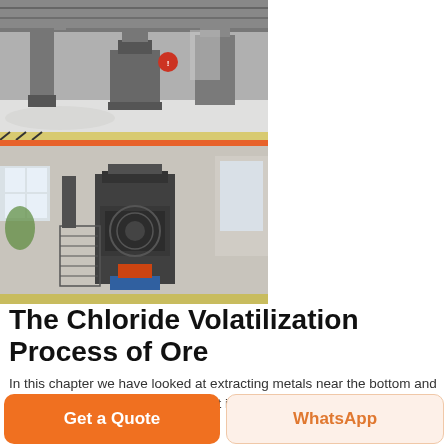[Figure (photo): Two industrial photos stacked vertically: top shows an industrial facility interior with machinery and white pellets/aggregate on the floor under bright overhead lighting; bottom shows a large vertical industrial mill/grinder machine inside a factory building with stairs and structural framework]
The Chloride Volatilization Process of Ore
In this chapter we have looked at extracting metals near the bottom and middle of the If the ore is a sulfide it is roasted first of all to convert it to the oxide Copper is an